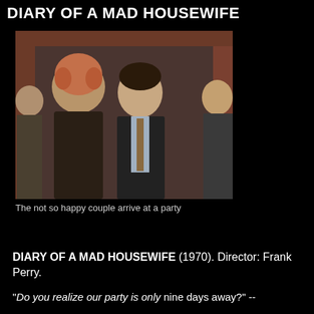DIARY OF A MAD HOUSEWIFE
[Figure (photo): A couple arriving at a party — a woman with curly hair and a man in a suit and tie, framed in a doorway]
The not so happy couple arrive at a party
DIARY OF A MAD HOUSEWIFE (1970). Director: Frank Perry.
"Do you realize our party is only nine days away?" --